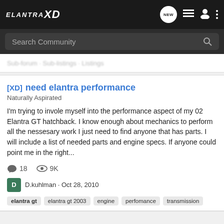ELANTRA XD
Search Community
[XD] need elantra performance
Naturally Aspirated

I'm trying to invole myself into the performance aspect of my 02 Elantra GT hatchback. I know enough about mechanics to perform all the nessesary work I just need to find anyone that has parts. I will include a list of needed parts and engine specs. If anyone could point me in the right...
18 comments · 9K views
D.kuhlman · Oct 28, 2010
elantra gt  elantra gt 2003  engine  perfomance  transmission